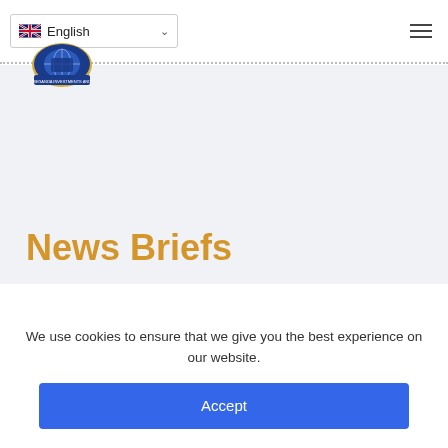[Figure (logo): Beganda Investments and Commercial Undertakings Ltd logo — circular emblem with blue shield and globe]
English (language selector dropdown) | hamburger menu icon
News Briefs
We use cookies to ensure that we give you the best experience on our website.
Accept